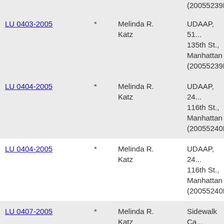| LU 0403-2005 | * | Melinda R. Katz | UDAAP, 51... 135th St., Manhattan (20055239H... |
| LU 0404-2005 | * | Melinda R. Katz | UDAAP, 24... 116th St., Manhattan (20055240H... |
| LU 0404-2005 | * | Melinda R. Katz | UDAAP, 24... 116th St., Manhattan (20055240H... |
| LU 0407-2005 | * | Melinda R. Katz | Sidewalk Ca... Bleeker Stre... Pizza, Manh... (20055170T... |
| LU 0407-2005 | * | Melinda R. Katz | Sidewalk Ca... Bleeker Stre... Pizza, Manh... (20055170T... |